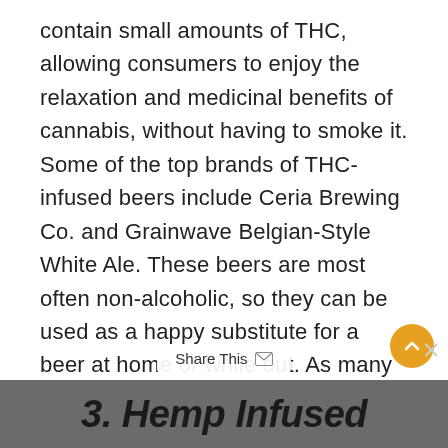contain small amounts of THC, allowing consumers to enjoy the relaxation and medicinal benefits of cannabis, without having to smoke it. Some of the top brands of THC-infused beers include Ceria Brewing Co. and Grainwave Belgian-Style White Ale. These beers are most often non-alcoholic, so they can be used as a happy substitute for a beer at home or while out. As many can attest, THC can also reduce the urge to consume more alcohol than is (perhaps) wise, so these beers are a great option for those who want to enjoy a night out without overdoing it.
3. Hemp Infused